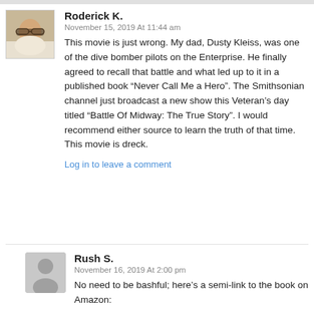[Figure (photo): Avatar photo of Roderick K., a person wearing glasses]
Roderick K.
November 15, 2019 At 11:44 am
This movie is just wrong. My dad, Dusty Kleiss, was one of the dive bomber pilots on the Enterprise. He finally agreed to recall that battle and what led up to it in a published book “Never Call Me a Hero”. The Smithsonian channel just broadcast a new show this Veteran’s day titled “Battle Of Midway: The True Story”. I would recommend either source to learn the truth of that time. This movie is dreck.
Log in to leave a comment
[Figure (illustration): Generic avatar silhouette for Rush S.]
Rush S.
November 16, 2019 At 2:00 pm
No need to be bashful; here’s a semi-link to the book on Amazon: